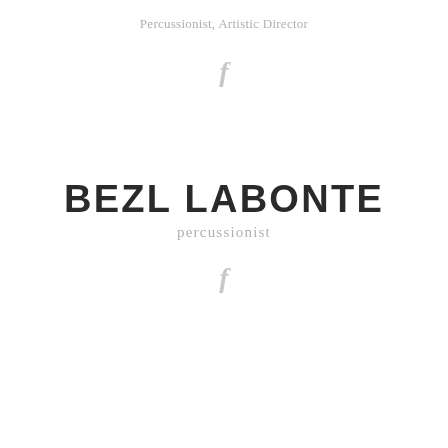Percussionist, Artistic Director
[Figure (logo): Facebook 'f' icon in light gray]
BEZL LABONTE
percussionist
[Figure (logo): Facebook 'f' icon in light gray]